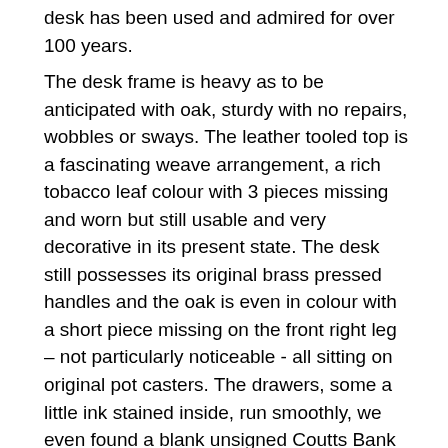desk has been used and admired for over 100 years.
The desk frame is heavy as to be anticipated with oak, sturdy with no repairs, wobbles or sways. The leather tooled top is a fascinating weave arrangement, a rich tobacco leaf colour with 3 pieces missing and worn but still usable and very decorative in its present state. The desk still possesses its original brass pressed handles and the oak is even in colour with a short piece missing on the front right leg – not particularly noticeable - all sitting on original pot casters. The drawers, some a little ink stained inside, run smoothly, we even found a blank unsigned Coutts Bank Cheque inside one! We have lightly bee waxed the desk leaving its past unbroken.